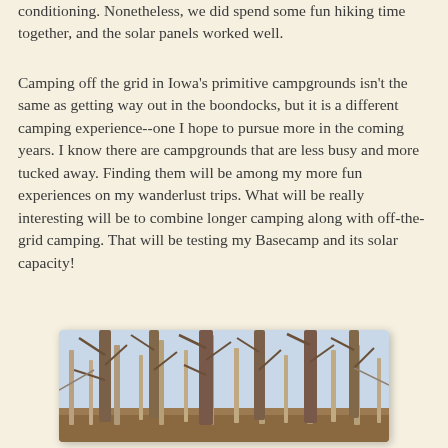conditioning. Nonetheless, we did spend some fun hiking time together, and the solar panels worked well.
Camping off the grid in Iowa's primitive campgrounds isn't the same as getting way out in the boondocks, but it is a different camping experience--one I hope to pursue more in the coming years. I know there are campgrounds that are less busy and more tucked away. Finding them will be among my more fun experiences on my wanderlust trips. What will be really interesting will be to combine longer camping along with off-the-grid camping. That will be testing my Basecamp and its solar capacity!
[Figure (photo): A winter or early spring forest scene showing bare deciduous trees with brown leaf litter on the ground and a pale blue sky visible through the branches.]